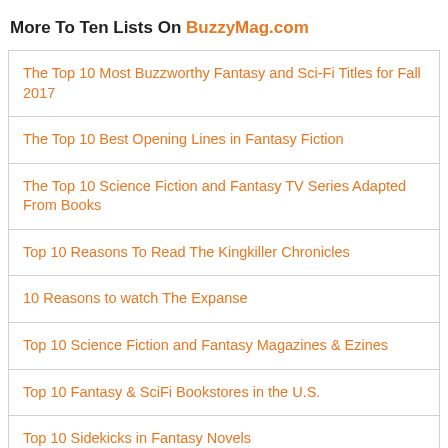More To Ten Lists On BuzzyMag.com
The Top 10 Most Buzzworthy Fantasy and Sci-Fi Titles for Fall 2017
The Top 10 Best Opening Lines in Fantasy Fiction
The Top 10 Science Fiction and Fantasy TV Series Adapted From Books
Top 10 Reasons To Read The Kingkiller Chronicles
10 Reasons to watch The Expanse
Top 10 Science Fiction and Fantasy Magazines & Ezines
Top 10 Fantasy & SciFi Bookstores in the U.S.
Top 10 Sidekicks in Fantasy Novels
Top Ten Sci-Fi & Fantasy Couples